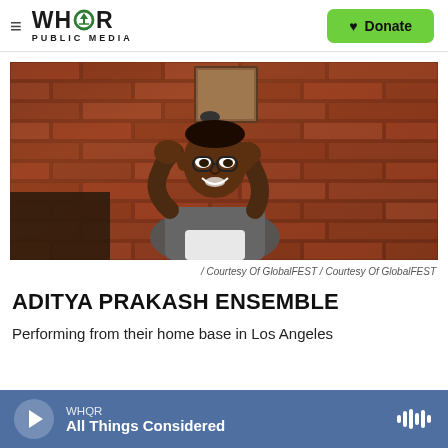WHQR PUBLIC MEDIA | Donate
[Figure (photo): A man holding a microphone with both hands near his mouth, smiling, wearing glasses and a grey and white t-shirt, with a brick wall background.]
/ Courtesy Of GlobalFEST / Courtesy Of GlobalFEST
ADITYA PRAKASH ENSEMBLE
Performing from their home base in Los Angeles
[Figure (other): Audio player bar showing WHQR station and 'All Things Considered' program with play button and waveform icon]